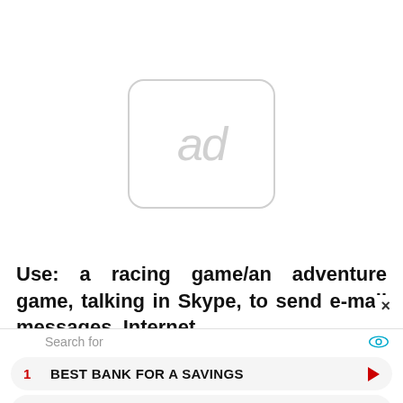[Figure (other): Ad placeholder icon: rounded rectangle with 'ad' text in light gray]
Use: a racing game/an adventure game, talking in Skype, to send e-mail messages, Internet.
× (close button)
Search for
1  BEST BANK FOR A SAVINGS
2  BEST CLOUD BACKUP SERVICES
Yahoo! Search | Sponsored